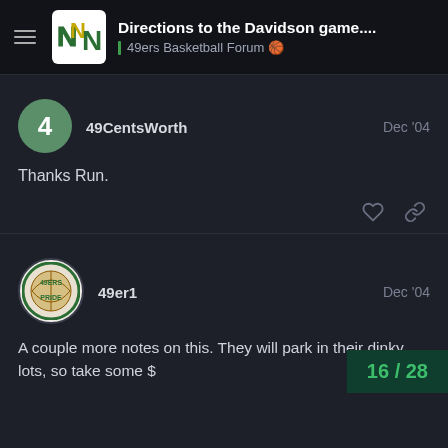Directions to the Davidson game.... | 49ers Basketball Forum
49CentsWorth
Dec '04
Thanks Run.
49er1
Dec '04
A couple more notes on this. They will park in their dinky lots, so take some $
16 / 28